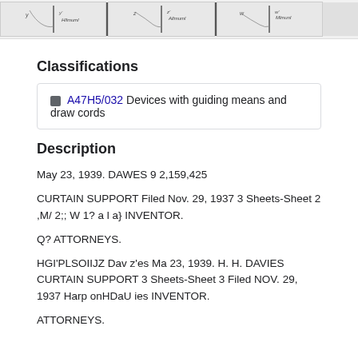[Figure (screenshot): Top strip showing three patent drawing panels with vertical dividers]
Classifications
A47H5/032  Devices with guiding means and draw cords
Description
May 23, 1939. DAWES 9 2,159,425
CURTAIN SUPPORT Filed Nov. 29, 1937 3 Sheets-Sheet 2 ,M/ 2;; W 1? a l a} INVENTOR.
Q? ATTORNEYS.
HGI'PLSOIIJZ Dav z'es Ma 23, 1939. H. H. DAVIES CURTAIN SUPPORT 3 Sheets-Sheet 3 Filed NOV. 29, 1937 Harp onHDaU ies INVENTOR.
ATTORNEYS.